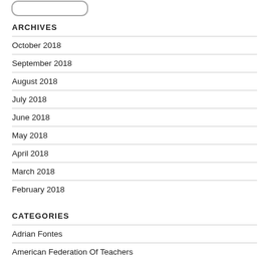[Figure (other): Rounded rectangle button outline/logo at top]
ARCHIVES
October 2018
September 2018
August 2018
July 2018
June 2018
May 2018
April 2018
March 2018
February 2018
CATEGORIES
Adrian Fontes
American Federation Of Teachers